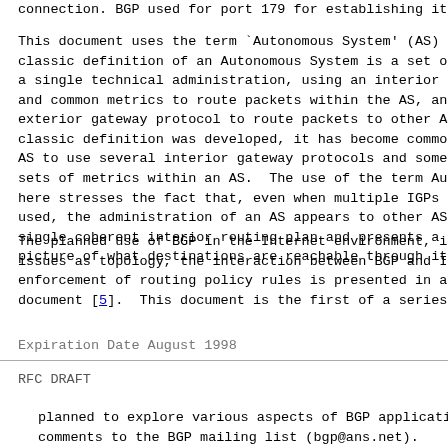connection.  BGP used for port 179 for establishing it
This document uses the term `Autonomous System' (AS) th classic definition of an Autonomous System is a set of a single technical administration, using an interior ga and common metrics to route packets within the AS, and exterior gateway protocol to route packets to other ASs classic definition was developed, it has become common AS to use several interior gateway protocols and someti sets of metrics within an AS.  The use of the term Auto here stresses the fact that, even when multiple IGPs an used, the administration of an AS appears to other ASs single coherent interior routing plan and presents a co picture of what destinations are reachable through it.
The planned use of BGP in the Internet environment, inc issues as topology, the interaction between BGP and IGP enforcement of routing policy rules is presented in a c document [5].  This document is the first of a series o
Expiration Date August 1998
RFC DRAFT
planned to explore various aspects of BGP application. comments to the BGP mailing list (bgp@ans.net).